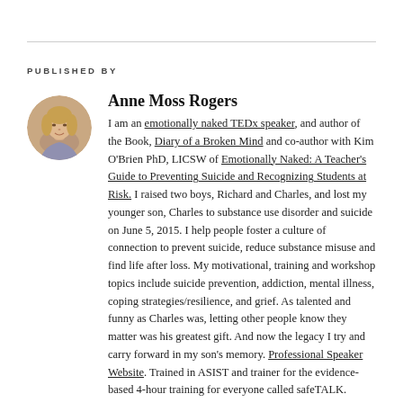PUBLISHED BY
[Figure (photo): Circular avatar photo of Anne Moss Rogers, a woman with blonde hair]
Anne Moss Rogers
I am an emotionally naked TEDx speaker, and author of the Book, Diary of a Broken Mind and co-author with Kim O'Brien PhD, LICSW of Emotionally Naked: A Teacher's Guide to Preventing Suicide and Recognizing Students at Risk. I raised two boys, Richard and Charles, and lost my younger son, Charles to substance use disorder and suicide on June 5, 2015. I help people foster a culture of connection to prevent suicide, reduce substance misuse and find life after loss. My motivational, training and workshop topics include suicide prevention, addiction, mental illness, coping strategies/resilience, and grief. As talented and funny as Charles was, letting other people know they matter was his greatest gift. And now the legacy I try and carry forward in my son's memory. Professional Speaker Website. Trained in ASIST and trainer for the evidence-based 4-hour training for everyone called safeTALK. View all posts by Anne Moss Rogers →